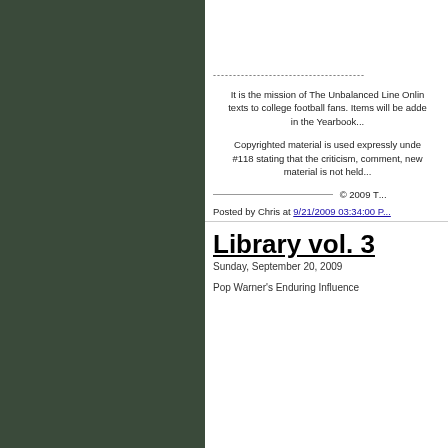--------------------------------------------
It is the mission of The Unbalanced Line Onlin... texts to college football fans. Items will be adde... in the Yearbook...
Copyrighted material is used expressly unde... #118 stating that the criticism, comment, new... material is not held...
___________________________ © 2009 T...
Posted by Chris at 9/21/2009 03:34:00 P...
Library vol. 3
Sunday, September 20, 2009
Pop Warner's Enduring Influence